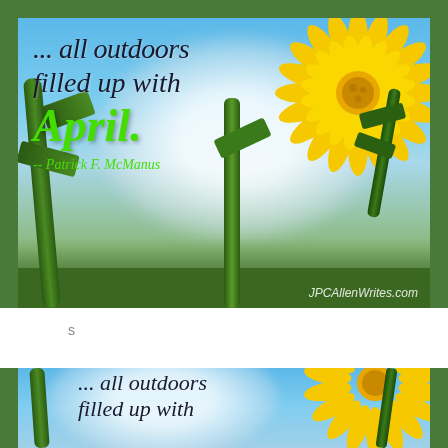[Figure (photo): Outdoor nature photo with blue sky, blurred mountain/cloud background, yellow dandelion flower on right, green leaves/stems, with quote text overlaid: '... all outdoors filled up with April.' -- Patrick F. McManus, and watermark JPCAllenWrites.com]
s
[Figure (photo): Partial repeat of same outdoor nature photo with blue sky, blurred mountain background, yellow dandelion flower on right, green leaves, with partial quote text: '... all outdoors filled up with']